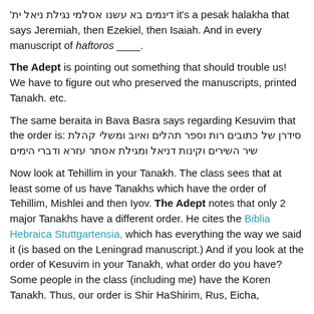it's a pesak halakha that says Jeremiah, then Ezekiel, then Isaiah. And in every manuscript of haftoros ____.
The Adept is pointing out something that should trouble us! We have to figure out who preserved the manuscripts, printed Tanakh. etc.
The same beraita in Bava Basra says regarding Kesuvim that the order is: סידרן של כתובים רות וספר תהלים ואיוב ומשלי קהלת שיר השירים וקינות דניאל ומגילת אסתר עזרא ודברי הימים
Now look at Tehillim in your Tanakh. The class sees that at least some of us have Tanakhs which have the order of Tehillim, Mishlei and then Iyov. The Adept notes that only 2 major Tanakhs have a different order. He cites the Biblia Hebraica Stuttgartensia, which has everything the way we said it (is based on the Leningrad manuscript.) And if you look at the order of Kesuvim in your Tanakh, what order do you have? Some people in the class (including me) have the Koren Tanakh. Thus, our order is Shir HaShirim, Rus, Eicha,